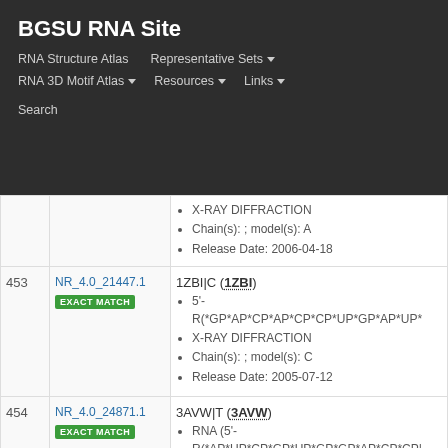BGSU RNA Site
RNA Structure Atlas | Representative Sets ▾ | RNA 3D Motif Atlas ▾ | Resources ▾ | Links ▾ | Search
| # | ID / Match | Structure Info |
| --- | --- | --- |
|  | NR_4.0_21447.1 EXACT MATCH | 1ZBI|C (1ZBI)
5'- R(*GP*AP*CP*AP*CP*CP*UP*GP*AP*UP*...
X-RAY DIFFRACTION
Chain(s): ; model(s): C
Release Date: 2005-07-12 |
| 453 | NR_4.0_21447.1 EXACT MATCH | 1ZBI|C (1ZBI)
5'- R(*GP*AP*CP*AP*CP*CP*UP*GP*AP*UP*...
X-RAY DIFFRACTION
Chain(s): ; model(s): C
Release Date: 2005-07-12 |
| 454 | NR_4.0_24871.1 EXACT MATCH | 3AVW|T (3AVW)
RNA (5'- R(*AP*UP*CP*GP*UP*GP*GP*AP*CP*CP...
X-RAY DIFFRACTION |